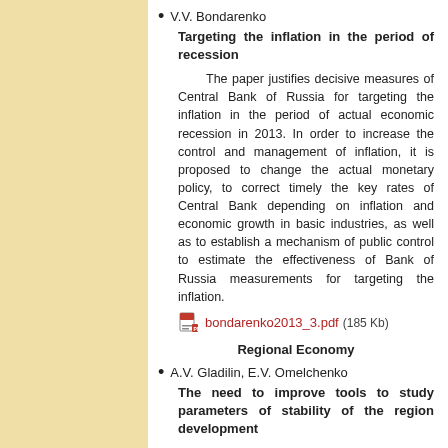V.V. Bondarenko
Targeting the inflation in the period of recession
The paper justifies decisive measures of Central Bank of Russia for targeting the inflation in the period of actual economic recession in 2013. In order to increase the control and management of inflation, it is proposed to change the actual monetary policy, to correct timely the key rates of Central Bank depending on inflation and economic growth in basic industries, as well as to establish a mechanism of public control to estimate the effectiveness of Bank of Russia measurements for targeting the inflation.
bondarenko2013_3.pdf (185 Kb)
Regional Economy
A.V. Gladilin, E.V. Omelchenko
The need to improve tools to study parameters of stability of the region development